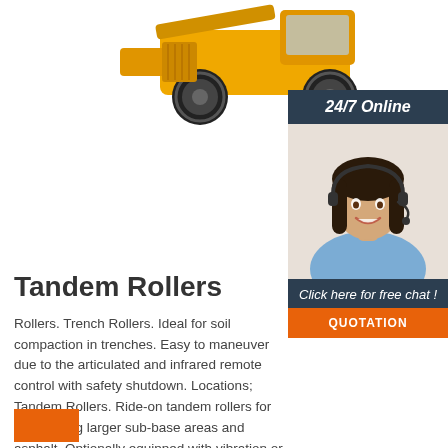[Figure (photo): Yellow heavy construction wheel loader / compactor machine, top portion visible on white background]
[Figure (infographic): Sidebar with dark blue-grey background showing '24/7 Online' header, photo of smiling female customer service agent with headset, 'Click here for free chat!' text, and orange QUOTATION button]
Tandem Rollers
Rollers. Trench Rollers. Ideal for soil compaction in trenches. Easy to maneuver due to the articulated and infrared remote control with safety shutdown. Locations; Tandem Rollers. Ride-on tandem rollers for compacting larger sub-base areas and asphalt. Optionally equipped with vibration or oscillation, also available as combination ...